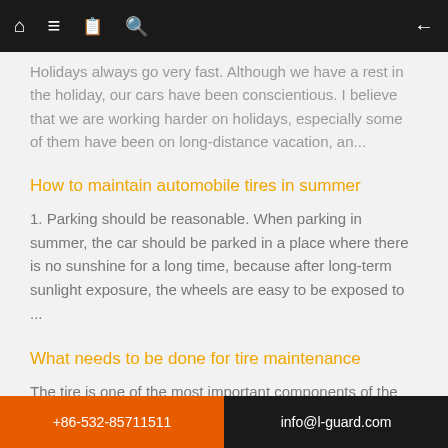Navigation bar with home, menu, book, search, and back icons
Holidays always go very fast. Although we have a rest in the holiday, our cars have been conscientious. I believe that we are working harder on holidays, especially some of them have been on long-distance vacation, an...
How to maintain automobile tires in summer
1. Parking should be reasonable. When parking in summer, the car should be parked in a place where there is no sunshine for a long time, because after long-term sunlight exposure, the wheels are easy to be exposed to ...
What needs to be done for tire maintenance
The tire is one of the most important components of the car. For the daily use and maintenance of the tire, the first thing is to monitor the tire pressure, and then check whether there are cracks, cuts or other damag...
+86-532-85711511  |  info@l-guard.com